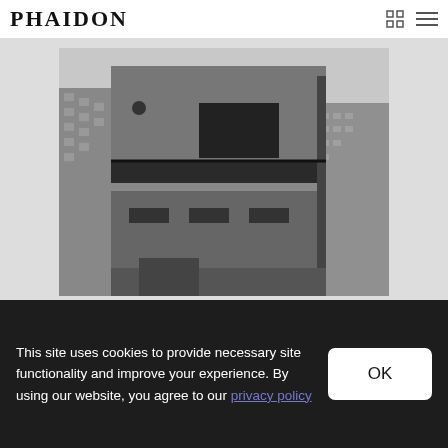PHAIDON
[Figure (photo): Black and white photograph of a modernist building (likely the Whitney Museum of American Art by Marcel Breuer), a brutalist concrete structure with cantilevered upper floors, surrounded by New York City buildings]
This site uses cookies to provide necessary site functionality and improve your experience. By using our website, you agree to our privacy policy